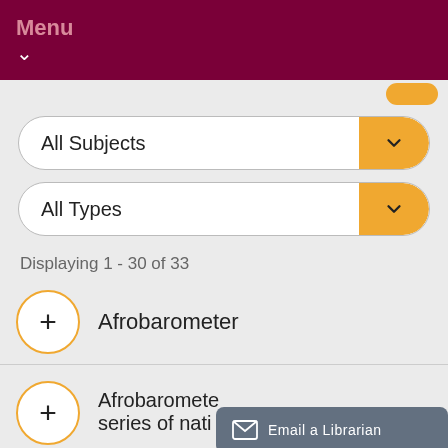Menu
All Subjects
All Types
Displaying 1 - 30 of 33
Afrobarometer
Afrobaromete... series of nati...
Email a Librarian